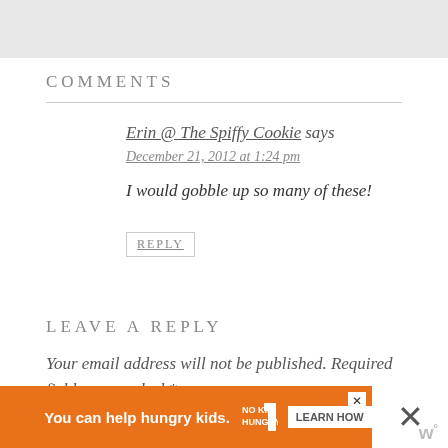[Figure (other): Gray bar at top of page]
COMMENTS
Erin @ The Spiffy Cookie says
December 21, 2012 at 1:24 pm
I would gobble up so many of these!
REPLY
LEAVE A REPLY
Your email address will not be published. Required fields are marked *
[Figure (other): Orange advertisement banner: You can help hungry kids. NO KID HUNGRY. LEARN HOW]